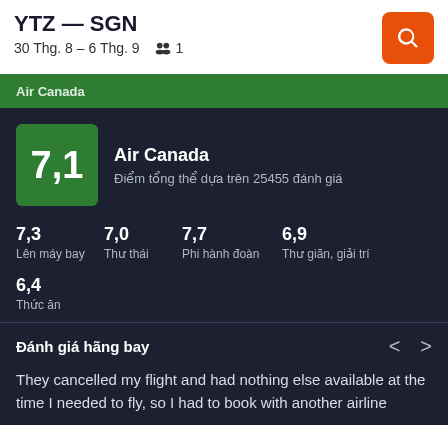YTZ — SGN
30 Thg. 8 – 6 Thg. 9   👥 1
[Figure (screenshot): Green airline bar partially visible at top of dark section]
7,1
Air Canada
Điểm tổng thể dựa trên 25455 đánh giá
7,3
Lên máy bay
7,0
Thư thái
7,7
Phi hành đoàn
6,9
Thư giãn, giải trí
6,4
Thức ăn
Đánh giá hãng bay
They cancelled my flight and had nothing else available at the time I needed to fly, so I had to book with another airline